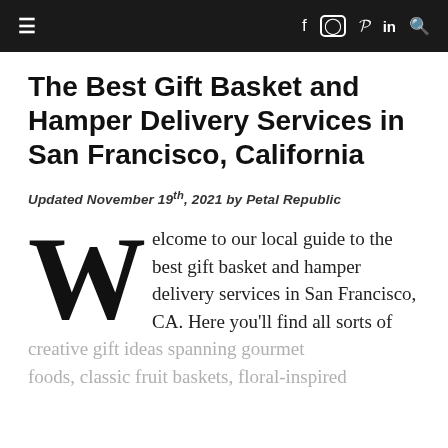≡  f  ⊙  ℗  in  🔍
The Best Gift Basket and Hamper Delivery Services in San Francisco, California
Updated November 19th, 2021 by Petal Republic
Welcome to our local guide to the best gift basket and hamper delivery services in San Francisco, CA. Here you'll find all sorts of creative gift ideas spanning gourmet foods, classic fruit baskets, floral-inspired